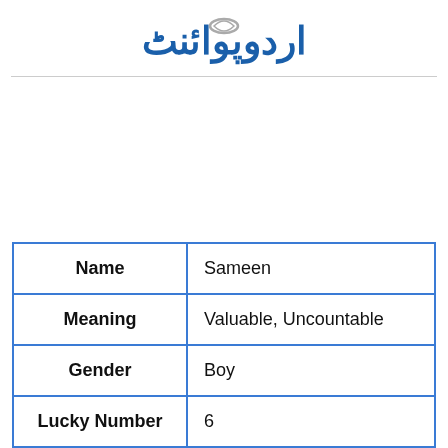اردوپوائنٹ
| Label | Value |
| --- | --- |
| Name | Sameen |
| Meaning | Valuable, Uncountable |
| Gender | Boy |
| Lucky Number | 6 |